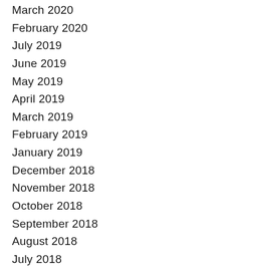March 2020
February 2020
July 2019
June 2019
May 2019
April 2019
March 2019
February 2019
January 2019
December 2018
November 2018
October 2018
September 2018
August 2018
July 2018
June 2018